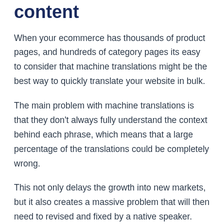content
When your ecommerce has thousands of product pages, and hundreds of category pages its easy to consider that machine translations might be the best way to quickly translate your website in bulk.
The main problem with machine translations is that they don't always fully understand the context behind each phrase, which means that a large percentage of the translations could be completely wrong.
This not only delays the growth into new markets, but it also creates a massive problem that will then need to revised and fixed by a native speaker.
RushTranslate has been a trusted source of Ecommerce